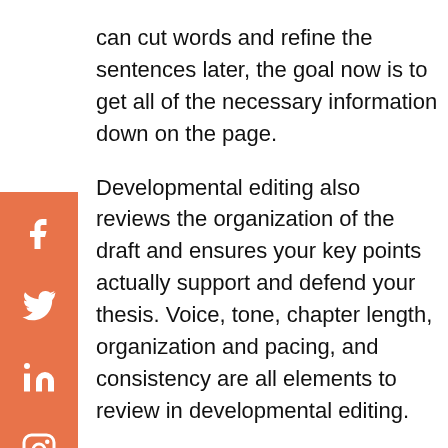can cut words and refine the sentences later, the goal now is to get all of the necessary information down on the page. Developmental editing also reviews the organization of the draft and ensures your key points actually support and defend your thesis. Voice, tone, chapter length, organization and pacing, and consistency are all elements to review in developmental editing.

This stage works best after you've gotten feedback from your beta readers; they bring up knowledge gaps that you, as an expert in your field, may not see. If you're unsure how to address those gaps, a developmental
[Figure (other): Social media sidebar with orange background containing Facebook, Twitter, LinkedIn, and Instagram icons in white]